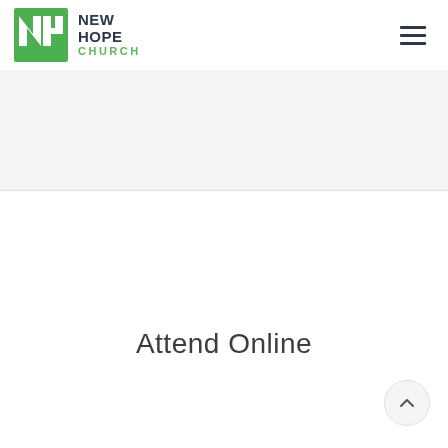[Figure (logo): New Hope Church logo with green NH monogram and text]
Attend Online